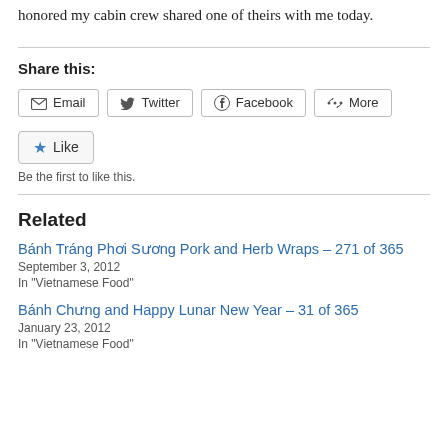honored my cabin crew shared one of theirs with me today.
Share this:
[Figure (other): Share buttons: Email, Twitter, Facebook, More]
[Figure (other): Like button with star icon]
Be the first to like this.
Related
Bánh Tráng Phơi Sương Pork and Herb Wraps – 271 of 365
September 3, 2012
In "Vietnamese Food"
Bánh Chưng and Happy Lunar New Year – 31 of 365
January 23, 2012
In "Vietnamese Food"